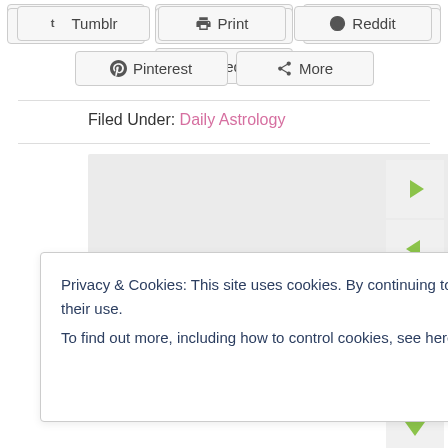[Figure (screenshot): Social share buttons row showing Tumblr, Print, Reddit buttons]
[Figure (screenshot): Social share buttons row showing Pinterest and More buttons]
Filed Under: Daily Astrology
[Figure (screenshot): Gray content placeholder box]
[Figure (other): Side navigation panel with right arrow, left arrow, shuffle, up arrow, down arrow buttons in green]
Privacy & Cookies: This site uses cookies. By continuing to use this website, you agree to their use.
To find out more, including how to control cookies, see here: Cookie Policy
[Figure (screenshot): Close and accept button]